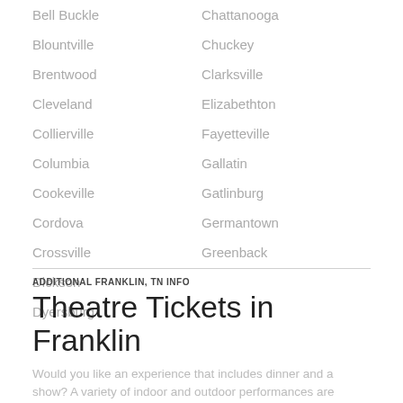Bell Buckle
Blountville
Brentwood
Cleveland
Collierville
Columbia
Cookeville
Cordova
Crossville
Dickson
Dyersburg
Chattanooga
Chuckey
Clarksville
Elizabethton
Fayetteville
Gallatin
Gatlinburg
Germantown
Greenback
ADDITIONAL FRANKLIN, TN INFO
Theatre Tickets in Franklin
Would you like an experience that includes dinner and a show? A variety of indoor and outdoor performances are available in
Read More